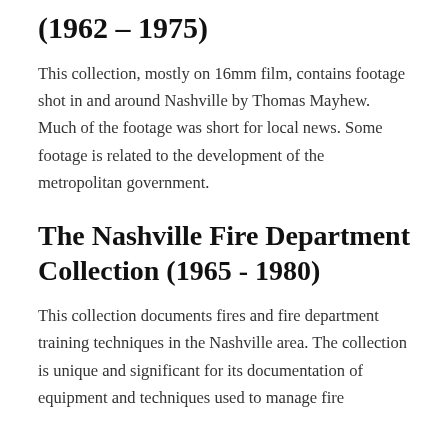(1962 - 1975)
This collection, mostly on 16mm film, contains footage shot in and around Nashville by Thomas Mayhew. Much of the footage was short for local news. Some footage is related to the development of the metropolitan government.
The Nashville Fire Department Collection (1965 - 1980)
This collection documents fires and fire department training techniques in the Nashville area. The collection is unique and significant for its documentation of equipment and techniques used to manage fire situations. Additionally, it contains footage of Nashville's...